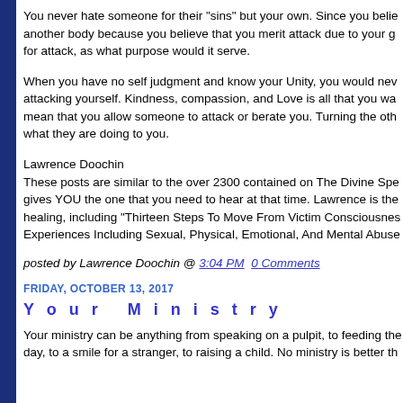You never hate someone for their "sins" but your own. Since you believe another body because you believe that you merit attack due to your g for attack, as what purpose would it serve.
When you have no self judgment and know your Unity, you would nev attacking yourself. Kindness, compassion, and Love is all that you wa mean that you allow someone to attack or berate you. Turning the oth what they are doing to you.
Lawrence Doochin
These posts are similar to the over 2300 contained on The Divine Spe gives YOU the one that you need to hear at that time. Lawrence is the healing, including "Thirteen Steps To Move From Victim Consciousnes Experiences Including Sexual, Physical, Emotional, And Mental Abuse
posted by Lawrence Doochin @ 3:04 PM  0 Comments
FRIDAY, OCTOBER 13, 2017
Y o u r   M i n i s t r y
Your ministry can be anything from speaking on a pulpit, to feeding the day, to a smile for a stranger, to raising a child. No ministry is better th